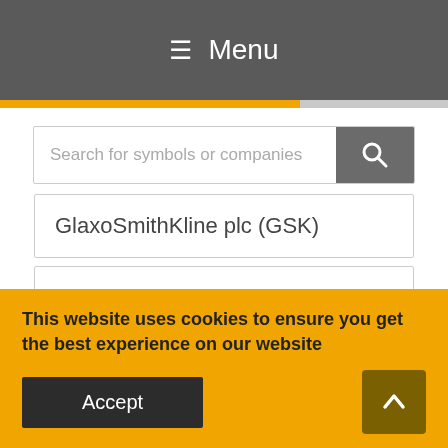≡ Menu
Search for symbols or companies
GlaxoSmithKline plc (GSK)
Organon & Co. (OGN)
Natera, Inc. (NTRA)
All stock
All currency
This website uses cookies to ensure you get the best experience on our website
Accept